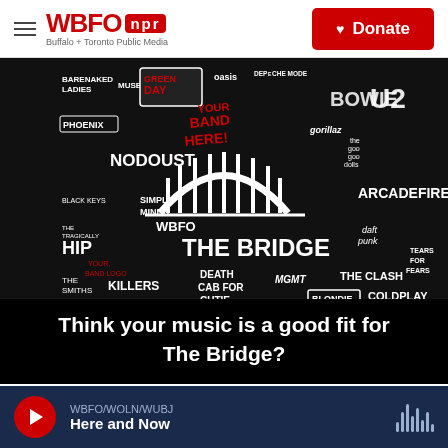WBFO NPR — Buffalo + Toronto Public Media | Donate
[Figure (photo): WBFO The Bridge radio station promotional image — dark background with band names and logos including Barenaked Ladies, Green Day, Oasis, Depeche Mode, U2, Bowie, Arcade Fire, No Doubt, The Tragically Hip, The Smiths, The Killers, Nirvana, The Cure, NIN, Talking Heads, Coldplay, Blondie, The Clash, Tears for Fears, and others, along with a bridge arch graphic and 'WBFO THE BRIDGE' text. Placeholder text reads 'Your Band Here'.]
Think your music is a good fit for The Bridge?
WBFO/WOLN/WUBJ — Here and Now